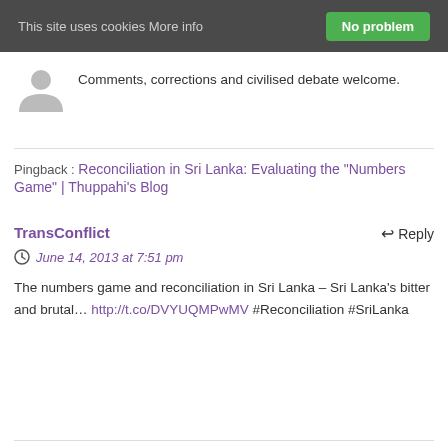This site uses cookies More info   No problem
Comments, corrections and civilised debate welcome.
Pingback : Reconciliation in Sri Lanka: Evaluating the "Numbers Game" | Thuppahi's Blog
TransConflict
June 14, 2013 at 7:51 pm
The numbers game and reconciliation in Sri Lanka – Sri Lanka's bitter and brutal… http://t.co/DVYUQMPwMV #Reconciliation #SriLanka
McAMB25